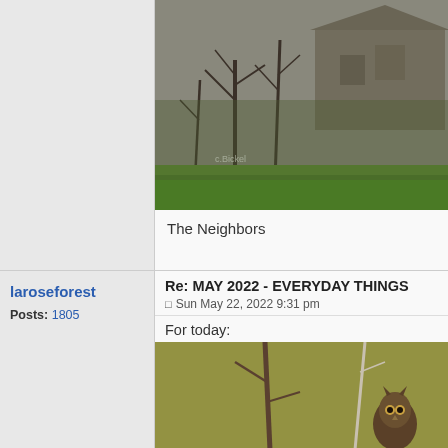[Figure (photo): Outdoor scene with bare trees, overgrown vegetation and an old house/building in the background, green lawn in foreground. Watermark 'c.Bickel' visible.]
The Neighbors
laroseforest
Posts: 1805
Re: MAY 2022 - EVERYDAY THINGS
Sun May 22, 2022 9:31 pm
For today:
[Figure (photo): Bird (possibly an owl or similar) perched on a bare tree branch against an olive/khaki green background.]